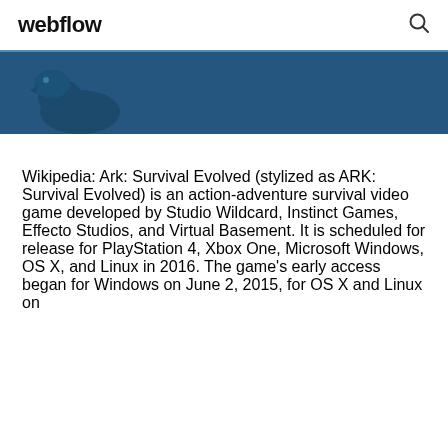webflow
[Figure (illustration): Blue banner with partial dinosaur/creature silhouette illustration from ARK: Survival Evolved]
Wikipedia: Ark: Survival Evolved (stylized as ARK: Survival Evolved) is an action-adventure survival video game developed by Studio Wildcard, Instinct Games, Effecto Studios, and Virtual Basement. It is scheduled for release for PlayStation 4, Xbox One, Microsoft Windows, OS X, and Linux in 2016. The game's early access began for Windows on June 2, 2015, for OS X and Linux on